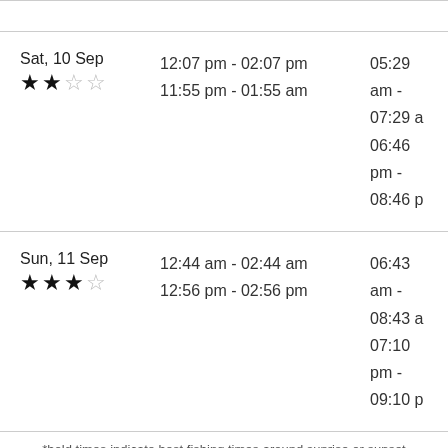| Date/Rating | Times 1 | Times 2 |
| --- | --- | --- |
| Sat, 10 Sep ★★☆☆ | 12:07 pm - 02:07 pm
11:55 pm - 01:55 am | 05:29 am - 07:29 a
06:46 pm - 08:46 p |
| Sun, 11 Sep ★★★☆ | 12:44 am - 02:44 am
12:56 pm - 02:56 pm | 06:43 am - 08:43 a
07:10 pm - 09:10 p |
*bold times indicate best fishing times around sunrise or sunset